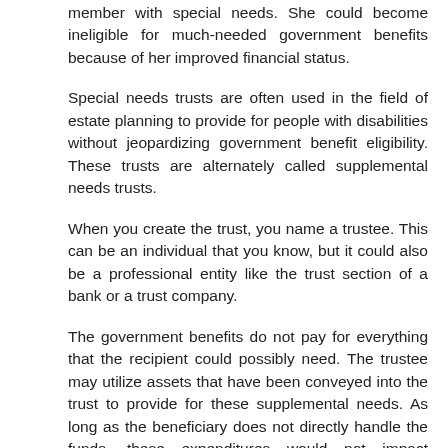member with special needs. She could become ineligible for much-needed government benefits because of her improved financial status.
Special needs trusts are often used in the field of estate planning to provide for people with disabilities without jeopardizing government benefit eligibility. These trusts are alternately called supplemental needs trusts.
When you create the trust, you name a trustee. This can be an individual that you know, but it could also be a professional entity like the trust section of a bank or a trust company.
The government benefits do not pay for everything that the recipient could possibly need. The trustee may utilize assets that have been conveyed into the trust to provide for these supplemental needs. As long as the beneficiary does not directly handle the funds, these expenditures would not impact government benefit eligibility.